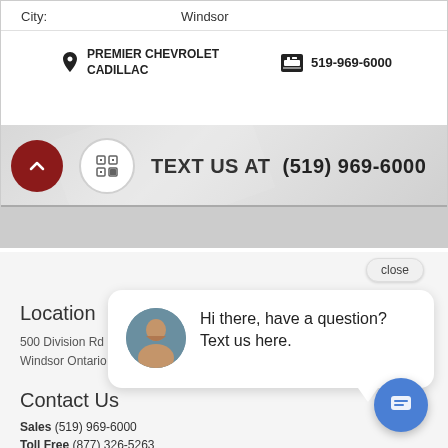City: Windsor
PREMIER CHEVROLET CADILLAC   519-969-6000
TEXT US AT (519) 969-6000
close
Hi there, have a question? Text us here.
Location
500 Division Rd
Windsor Ontario
Contact Us
Sales (519) 969-6000
Toll Free (877) 326-5263